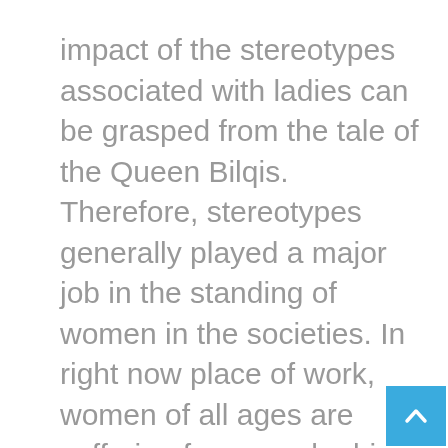impact of the stereotypes associated with ladies can be grasped from the tale of the Queen Bilqis. Therefore, stereotypes generally played a major job in the standing of women in the societies. In right now place of work, women of all ages are suffering from gender bias.

Ladies are regarded to be less formidable than adult men. Yale College researches in 2012 observed that women had been deemed less proficient, and